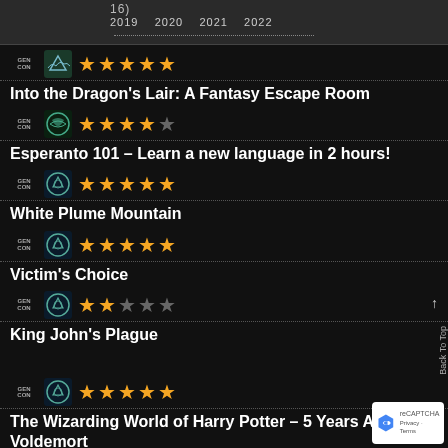16) 2019 2020 2021 2022
Into the Dragon's Lair: A Fantasy Escape Room — 5 stars
Esperanto 101 – Learn a new language in 2 hours! — 4 stars
White Plume Mountain — 5 stars
Victim's Choice — 5 stars
King John's Plague — 2 stars
The Wizarding World of Harry Potter – 5 Years After Voldemort — 5 stars